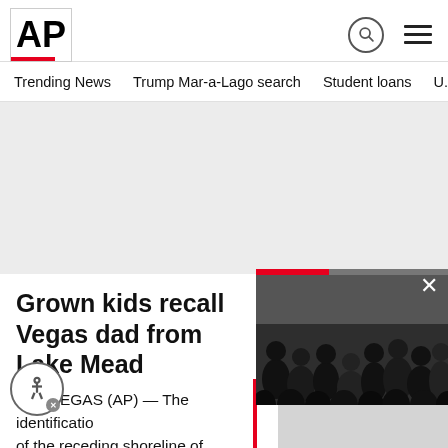AP
Trending News   Trump Mar-a-Lago search   Student loans   U.S
[Figure (photo): Gray advertisement placeholder area]
Grown kids recall Vegas dad from Lake Mead
LAS VEGAS (AP) — The identification of the receding shoreline of Lake Mead
[Figure (photo): Floating video overlay showing crowd of people in dark clothing with red progress bar and X close button]
3 days ago